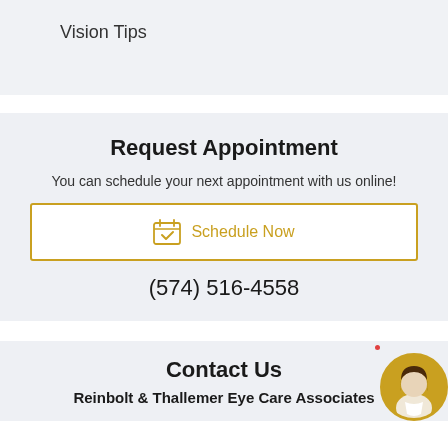Vision Tips
Request Appointment
You can schedule your next appointment with us online!
Schedule Now
(574) 516-4558
Contact Us
Reinbolt & Thallemer Eye Care Associates